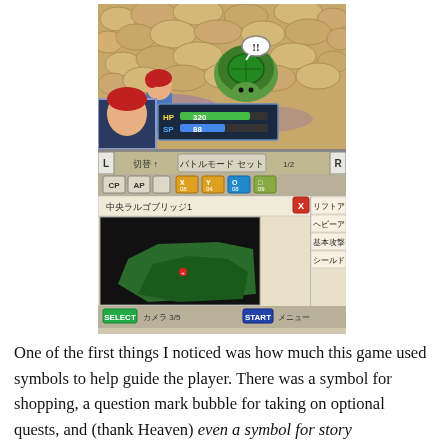[Figure (screenshot): Screenshot of a Japanese RPG video game (Golden Sun or similar GBA/DS game) showing a battle scene on top screen with characters and an enemy on a cobblestone floor, and the bottom screen showing a map, battle commands in Japanese (リフトアタック, ヘビーアタック, 基本攻撃, シールドアタック), and UI elements including HP 320, SP 88, battlemode UI with CP/AP buttons.]
One of the first things I noticed was how much this game used symbols to help guide the player. There was a symbol for shopping, a question mark bubble for taking on optional quests, and (thank Heaven) even a symbol for story progression. Whenever I was stuck or met with a wall or character I couldn't seem to pass, I simply wandered around town looking for the story progression symbol in a